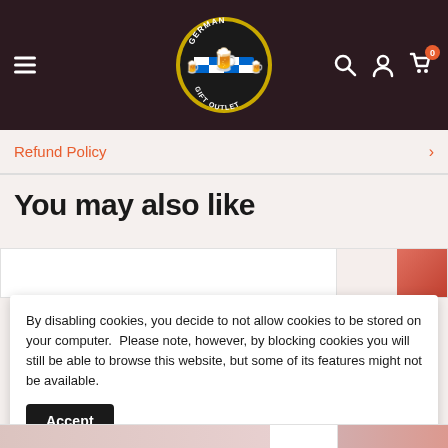[Figure (logo): German Gift Outlet circular logo with beer mugs and Bavarian diamond pattern in blue and white, on dark maroon header background]
Refund Policy
You may also like
By disabling cookies, you decide to not allow cookies to be stored on your computer.  Please note, however, by blocking cookies you will still be able to browse this website, but some of its features might not be available.
Accept